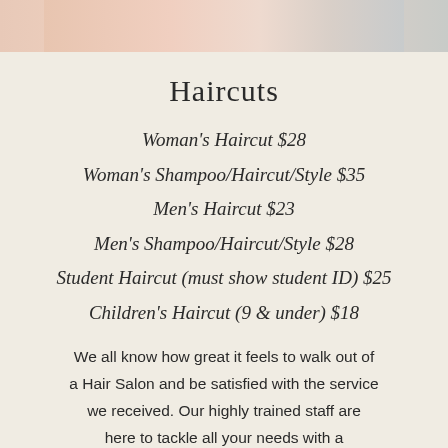[Figure (photo): Partial photo strip at top of page showing a pink/peach clothing item and other blurred elements]
Haircuts
Woman's Haircut $28
Woman's Shampoo/Haircut/Style $35
Men's Haircut $23
Men's Shampoo/Haircut/Style $28
Student Haircut (must show student ID) $25
Children's Haircut (9 & under) $18
We all know how great it feels to walk out of a Hair Salon and be satisfied with the service we received. Our highly trained staff are here to tackle all your needs with a professional Cutting that will leave you looking and feeling phenomenal. Come in